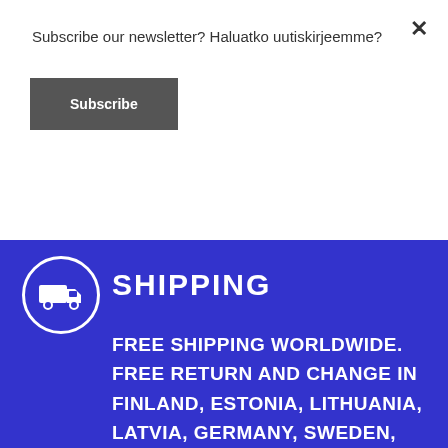[Figure (illustration): Blue background with shipping truck icon in white circle and shipping policy text]
Subscribe our newsletter? Haluatko uutiskirjeemme?
Subscribe
×
SHIPPING
FREE SHIPPING WORLDWIDE. FREE RETURN AND CHANGE IN FINLAND, ESTONIA, LITHUANIA, LATVIA, GERMANY, SWEDEN, DENMARK, AUSTRIA, BELGIUM, HOLLAND, POLAND, CZECH, SLOVAKIA, LUXEMBOURG, SLOVENIA, HUNGARY,